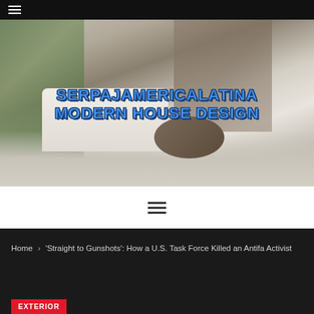☰ (hamburger menu)
[Figure (photo): Interior of a modern luxury living room with large sofa, round coffee table, staircase, and open floor plan. Overlaid with blue logo text reading 'SERPAJAMERICALATINA MODERN HOUSE DESIGN']
SERPAJAMERICALATINA MODERN HOUSE DESIGN
☰ (hamburger menu icon, dark)
Home > 'Straight to Gunshots': How a U.S. Task Force Killed an Antifa Activist
EXTERIOR